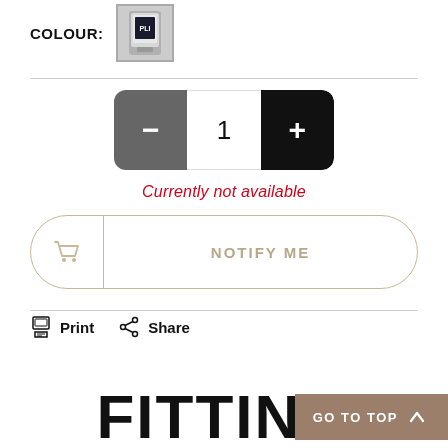COLOUR:
[Figure (photo): Small product thumbnail image of a grey/silver device in a bordered box]
Currently not available
NOTIFY ME
Print  Share
FITTING